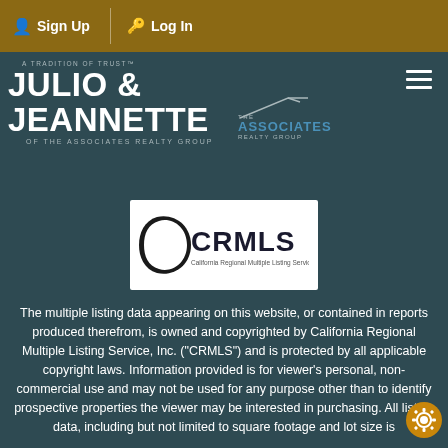Sign Up  Log In
[Figure (logo): Julio & Jeannette of The Associates Realty Group logo with tagline 'A Tradition of Trust']
[Figure (logo): CRMLS - California Regional Multiple Listing Service, Inc. logo]
The multiple listing data appearing on this website, or contained in reports produced therefrom, is owned and copyrighted by California Regional Multiple Listing Service, Inc. ("CRMLS") and is protected by all applicable copyright laws. Information provided is for viewer's personal, non-commercial use and may not be used for any purpose other than to identify prospective properties the viewer may be interested in purchasing. All listing data, including but not limited to square footage and lot size is